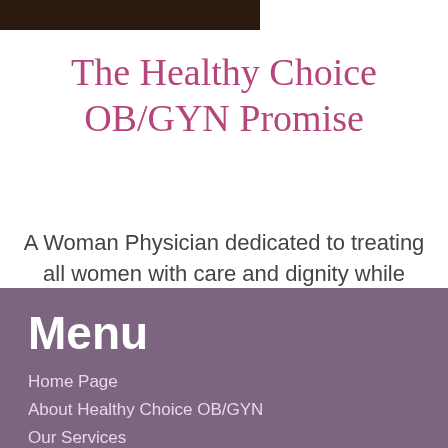[Figure (photo): Dark banner image at top left, appears to be a header photo strip]
The Healthy Choice OB/GYN Promise
A Woman Physician dedicated to treating all women with care and dignity while promoting wellness throughout the life cycle.
Menu
Home Page
About Healthy Choice OB/GYN
Our Services